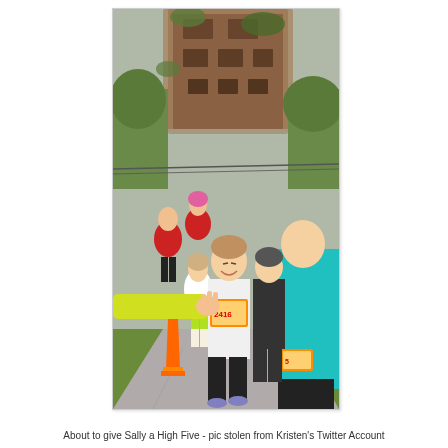[Figure (photo): Outdoor running race scene. Multiple runners on a paved path. In the foreground, a woman in a white tank top and black capri pants with a race bib (number 2416) is smiling and receiving a high five from a person in a yellow long-sleeved shirt on the left. Behind her are several other runners including a woman in green shorts, a woman in red, and others. To the right is a woman in a turquoise top. Orange traffic cone visible on the left side of the path. Background shows green grass, trees, and a large rusty industrial structure (gasometer or similar). Overcast sky.]
About to give Sally a High Five - pic stolen from Kristen's Twitter Account